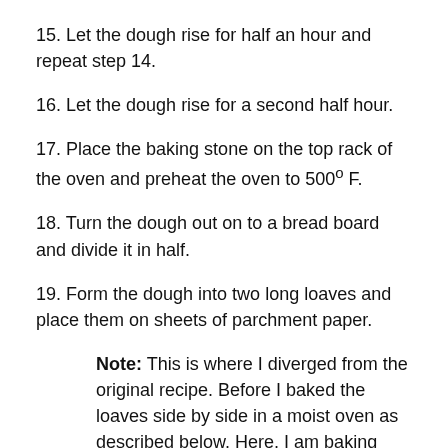15. Let the dough rise for half an hour and repeat step 14.
16. Let the dough rise for a second half hour.
17. Place the baking stone on the top rack of the oven and preheat the oven to 500º F.
18. Turn the dough out on to a bread board and divide it in half.
19. Form the dough into two long loaves and place them on sheets of parchment paper.
Note: This is where I diverged from the original recipe. Before I baked the loaves side by side in a moist oven as described below. Here, I am baking one loaf separately in a dry oven and then baking the second loaf in a wet oven.